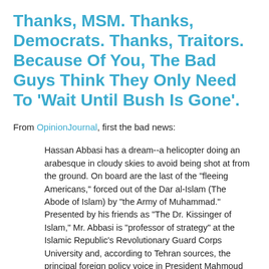Thanks, MSM. Thanks, Democrats. Thanks, Traitors. Because Of You, The Bad Guys Think They Only Need To 'Wait Until Bush Is Gone'.
From OpinionJournal, first the bad news:
Hassan Abbasi has a dream--a helicopter doing an arabesque in cloudy skies to avoid being shot at from the ground. On board are the last of the "fleeing Americans," forced out of the Dar al-Islam (The Abode of Islam) by "the Army of Muhammad." Presented by his friends as "The Dr. Kissinger of Islam," Mr. Abbasi is "professor of strategy" at the Islamic Republic's Revolutionary Guard Corps University and, according to Tehran sources, the principal foreign policy voice in President Mahmoud Ahmadinejad's new radical administration.